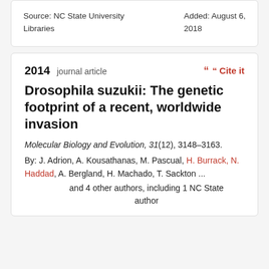Source: NC State University Libraries
Added: August 6, 2018
2014 journal article
Cite it
Drosophila suzukii: The genetic footprint of a recent, worldwide invasion
Molecular Biology and Evolution, 31(12), 3148–3163.
By: J. Adrion, A. Kousathanas, M. Pascual, H. Burrack, N. Haddad, A. Bergland, H. Machado, T. Sackton ...
and 4 other authors, including 1 NC State author